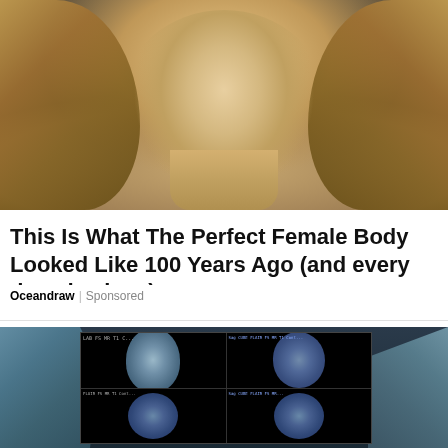[Figure (photo): Close-up photo of a blonde woman with voluminous wavy hair, looking forward, from shoulders up]
This Is What The Perfect Female Body Looked Like 100 Years Ago (and every decade since)
Oceandraw | Sponsored
[Figure (photo): Medical professionals in surgical caps viewing brain MRI scans on a screen showing four quadrant brain images in blue/gray tones]